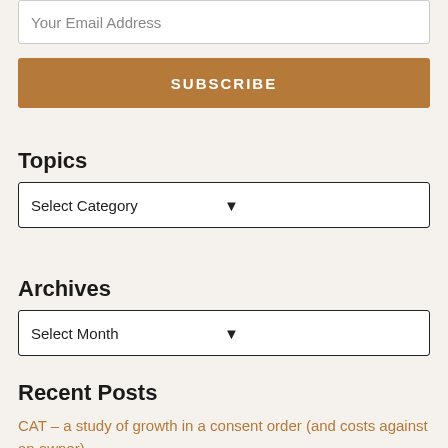Your Email Address
SUBSCRIBE
Topics
Select Category
Archives
Select Month
Recent Posts
CAT – a study of growth in a consent order (and costs against an owner)